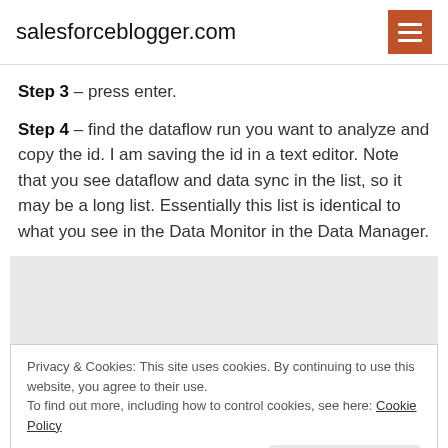salesforceblogger.com
Step 3 – press enter.
Step 4 – find the dataflow run you want to analyze and copy the id. I am saving the id in a text editor. Note that you see dataflow and data sync in the list, so it may be a long list. Essentially this list is identical to what you see in the Data Monitor in the Data Manager.
Privacy & Cookies: This site uses cookies. By continuing to use this website, you agree to their use. To find out more, including how to control cookies, see here: Cookie Policy
Close and accept